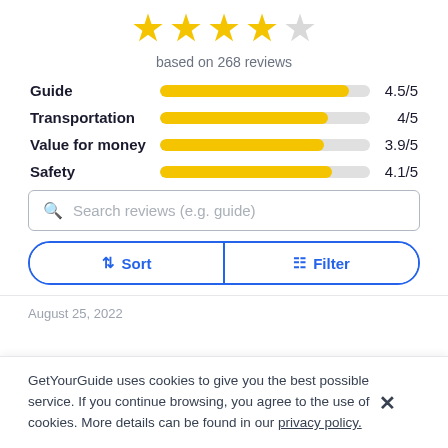[Figure (other): Five-star rating display: 4 filled yellow stars and 1 empty/gray star]
based on 268 reviews
[Figure (bar-chart): Category ratings]
Search reviews (e.g. guide)
↓↑ Sort   ≡ Filter
August 25, 2022
GetYourGuide uses cookies to give you the best possible service. If you continue browsing, you agree to the use of cookies. More details can be found in our privacy policy.